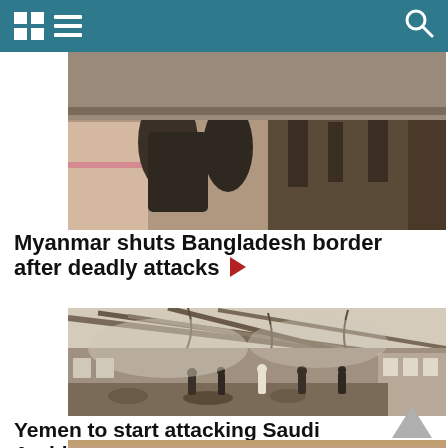News app header with grid icon, menu icon, and search icon
[Figure (photo): People in a building interior scene, Myanmar border context]
Myanmar shuts Bangladesh border after deadly attacks ▶
[Figure (photo): Destroyed building interior with collapsed roof and debris, people walking through rubble, smoke, Yemen airstrike aftermath]
Yemen to start attacking Saudi Arabia ▶